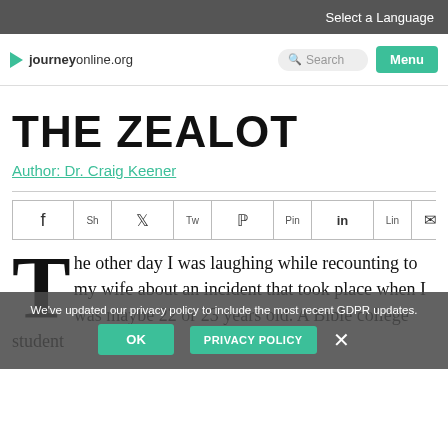Select a Language
journeyonline.org  Search  Menu
THE ZEALOT
Author: Dr. Craig Keener
[Figure (other): Social share buttons: Facebook (f, Sh), Twitter (Tweet, Tw), Pinterest (Pin, Pi), LinkedIn (Lin, in), Email (Ema, envelope icon)]
The other day I was laughing while recounting to my wife about an incident that took place when I was maybe 22 or 23 years old. A Bible college student
We've updated our privacy policy to include the most recent GDPR updates.
OK   PRIVACY POLICY   ×